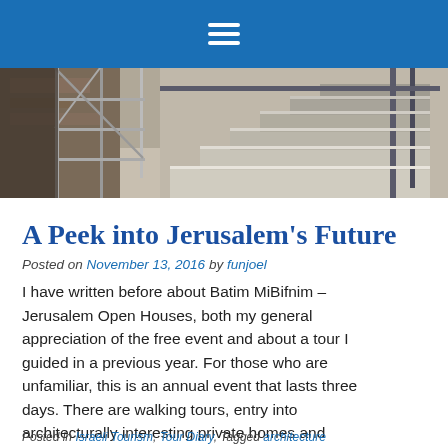≡ (hamburger menu icon)
[Figure (photo): Photograph of construction scaffolding and stairs inside a building under renovation or construction, in Jerusalem.]
A Peek into Jerusalem's Future
Posted on November 13, 2016 by funjoel
I have written before about Batim MiBifnim – Jerusalem Open Houses, both my general appreciation of the free event and about a tour I guided in a previous year. For those who are unfamiliar, this is an annual event that lasts three days. There are walking tours, entry into architecturally interesting private homes and public Read More
Posted in Israeli Tourism, Tour Diary, Tagged architecture